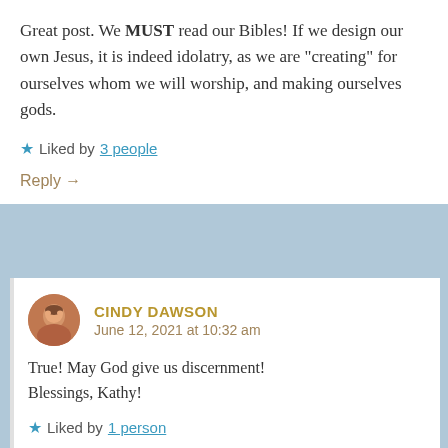Great post. We MUST read our Bibles! If we design our own Jesus, it is indeed idolatry, as we are “creating” for ourselves whom we will worship, and making ourselves gods.
★ Liked by 3 people
Reply →
CINDY DAWSON
June 12, 2021 at 10:32 am
True! May God give us discernment! Blessings, Kathy!
★ Liked by 1 person